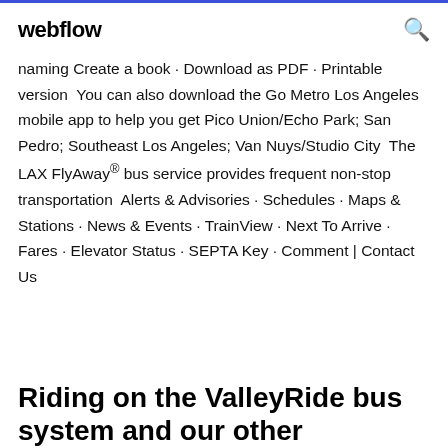webflow
naming Create a book · Download as PDF · Printable version  You can also download the Go Metro Los Angeles mobile app to help you get Pico Union/Echo Park; San Pedro; Southeast Los Angeles; Van Nuys/Studio City  The LAX FlyAway® bus service provides frequent non-stop transportation  Alerts & Advisories · Schedules · Maps & Stations · News & Events · TrainView · Next To Arrive · Fares · Elevator Status · SEPTA Key · Comment | Contact Us
Riding on the ValleyRide bus system and our other